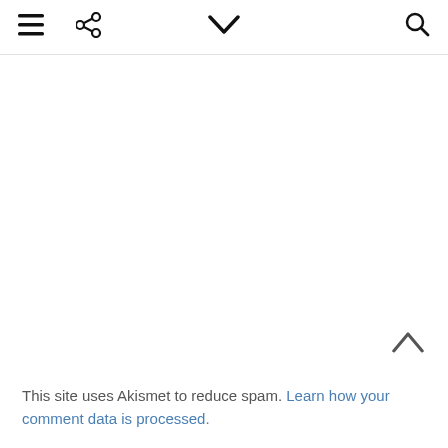≡ ⋮ ∨ 🔍
This site uses Akismet to reduce spam. Learn how your comment data is processed.